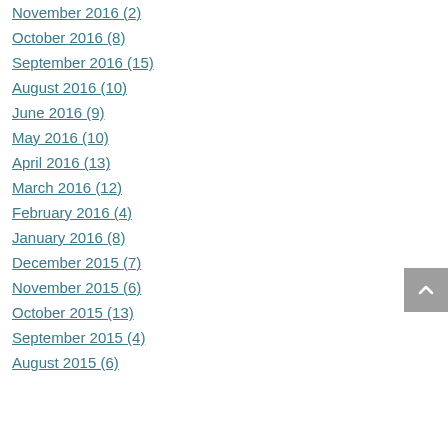November 2016 (2)
October 2016 (8)
September 2016 (15)
August 2016 (10)
June 2016 (9)
May 2016 (10)
April 2016 (13)
March 2016 (12)
February 2016 (4)
January 2016 (8)
December 2015 (7)
November 2015 (6)
October 2015 (13)
September 2015 (4)
August 2015 (6)